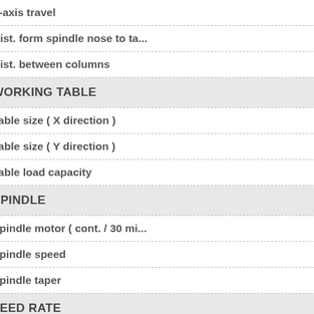| Specification |
| --- |
| Z-axis travel |
| Dist. form spindle nose to ta... |
| Dist. between columns |
| WORKING TABLE |
| Table size ( X direction ) |
| Table size ( Y direction ) |
| Table load capacity |
| SPINDLE |
| Spindle motor ( cont. / 30 mi... |
| Spindle speed |
| Spindle taper |
| FEED RATE |
| X-axis rapid feedrate |